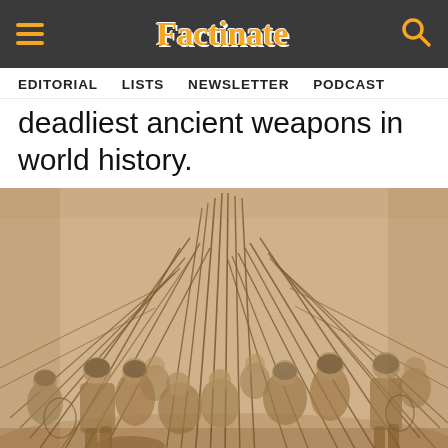Factinate — EDITORIAL  LISTS  NEWSLETTER  PODCAST
deadliest ancient weapons in world history.
[Figure (illustration): A detailed pen-and-ink or engraving-style illustration depicting a medieval or ancient battle scene. Two armies clash in close combat, with soldiers wielding long pikes and spears that fan outward in all directions from the center. Figures in period armor and clothing struggle against each other in dense formation. The style appears to be a Renaissance-era engraving on aged parchment-colored background.]